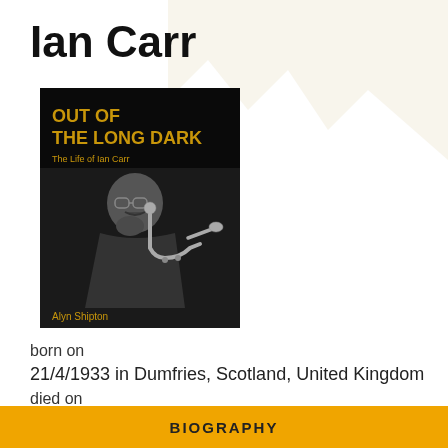Ian Carr
[Figure (illustration): Book cover of 'Out of the Long Dark: The Life of Ian Carr' by Alyn Shipton. Black background with gold text at top reading 'OUT OF THE LONG DARK' and subtitle 'The Life of Ian Carr'. Black and white photo of Ian Carr holding a trumpet, resting his chin on his hand. Author name 'Alyn Shipton' at bottom left in gold text.]
born on
21/4/1933 in Dumfries, Scotland, United Kingdom
died on
25/2/2009 in London, England, United Kingdom
BIOGRAPHY